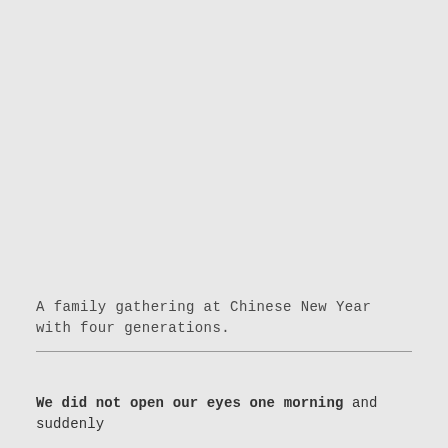A family gathering at Chinese New Year with four generations.
We did not open our eyes one morning and suddenly